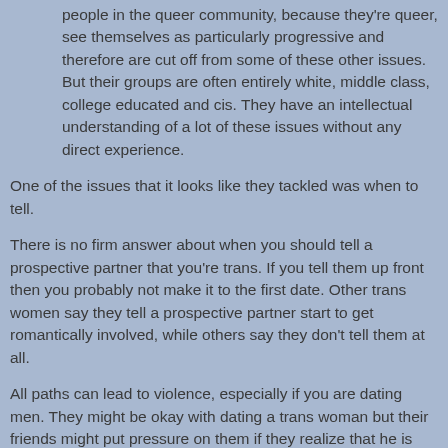people in the queer community, because they're queer, see themselves as particularly progressive and therefore are cut off from some of these other issues. But their groups are often entirely white, middle class, college educated and cis. They have an intellectual understanding of a lot of these issues without any direct experience.
One of the issues that it looks like they tackled was when to tell.
There is no firm answer about when you should tell a prospective partner that you're trans. If you tell them up front then you probably not make it to the first date. Other trans women say they tell a prospective partner start to get romantically involved, while others say they don't tell them at all.
All paths can lead to violence, especially if you are dating men. They might be okay with dating a trans woman but their friends might put pressure on them if they realize that he is dating a trans woman.